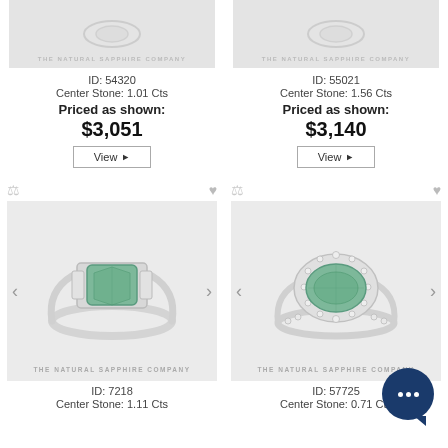[Figure (photo): Ring product image placeholder with The Natural Sapphire Company watermark, top left]
ID: 54320
Center Stone: 1.01 Cts
Priced as shown:
$3,051
[Figure (photo): Ring product image placeholder with The Natural Sapphire Company watermark, top right]
ID: 55021
Center Stone: 1.56 Cts
Priced as shown:
$3,140
[Figure (photo): Green sapphire three-stone ring with baguette side stones on white band, The Natural Sapphire Company watermark]
ID: 7218
Center Stone: 1.11 Cts
[Figure (photo): Green sapphire halo ring with diamond pave band, The Natural Sapphire Company watermark]
ID: 57725
Center Stone: 0.71 Cts